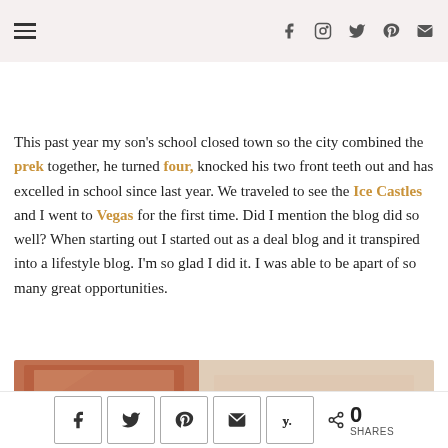The holiday season is in full force and will soon become hectic soon. I'm sure of it. Who needs a break? The Christmas season is all about giving but also reflecting, ending the year off right.
This past year my son's school closed town so the city combined the prek together, he turned four, knocked his two front teeth out and has excelled in school since last year. We traveled to see the Ice Castles and I went to Vegas for the first time. Did I mention the blog did so well? When starting out I started out as a deal blog and it transpired into a lifestyle blog. I'm so glad I did it. I was able to be apart of so many great opportunities.
[Figure (photo): Photo of brown/terracotta and beige items, likely notebooks or planners]
Share buttons: Facebook, Twitter, Pinterest, Email, Yummly. 0 SHARES